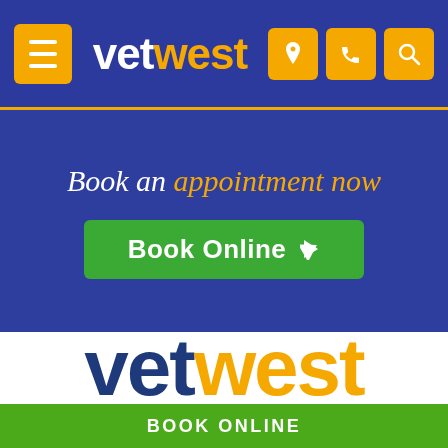[Figure (logo): Vetwest logo in white and orange on blue navigation bar with hamburger menu and icon buttons]
Book an appointment now
Book Online
[Figure (logo): Large Vetwest logo — 'vet' in dark blue, 'west' in orange — on white background]
BOOK ONLINE